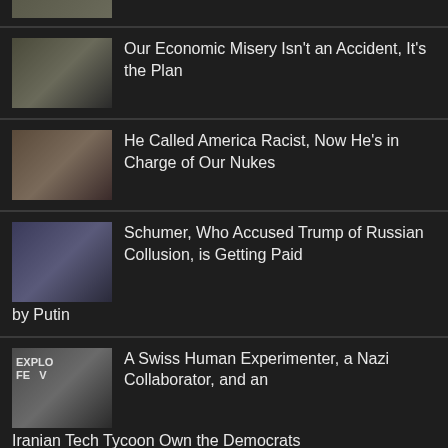[Figure (photo): Partial thumbnail image at top of page, cropped]
Our Economic Misery Isn't an Accident, It's the Plan
He Called America Racist, Now He's in Charge of Our Nukes
Schumer, Who Accused Trump of Russian Collusion, is Getting Paid by Putin
A Swiss Human Experimenter, a Nazi Collaborator, and an Iranian Tech Tycoon Own the Democrats